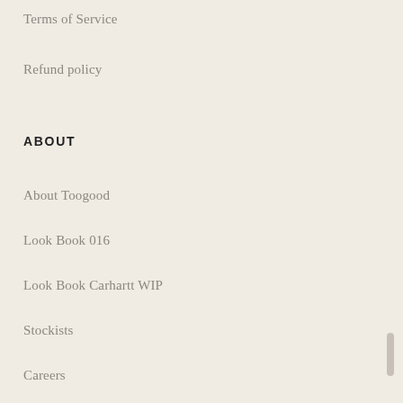Terms of Service
Refund policy
ABOUT
About Toogood
Look Book 016
Look Book Carhartt WIP
Stockists
Careers
CONTACT
71 Redchurch Street